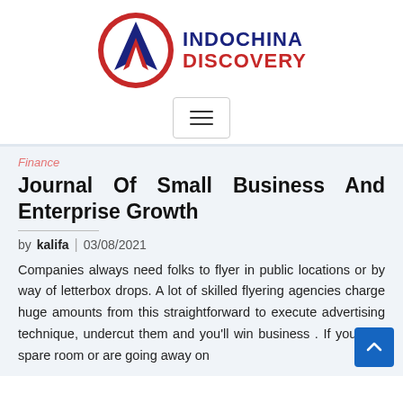[Figure (logo): Indochina Discovery logo: circular red and blue emblem with stylized mountain/arrow shape, text INDOCHINA DISCOVERY in navy and red]
[Figure (other): Hamburger menu button with three horizontal lines, light bordered rectangle]
Finance
Journal Of Small Business And Enterprise Growth
by kalifa | 03/08/2021
Companies always need folks to flyer in public locations or by way of letterbox drops. A lot of skilled flyering agencies charge huge amounts from this straightforward to execute advertising technique, undercut them and you'll win business . If you've a spare room or are going away on